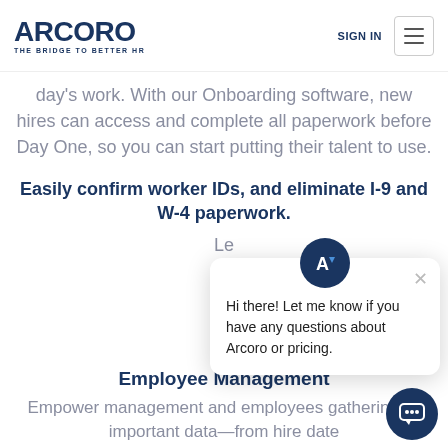SIGN IN
[Figure (logo): Arcoro logo with text 'THE BRIDGE TO BETTER HR']
day's work. With our Onboarding software, new hires can access and complete all paperwork before Day One, so you can start putting their talent to use.
Easily confirm worker IDs, and eliminate I-9 and W-4 paperwork.
Le
[Figure (screenshot): Chat popup with Arcoro icon and message: Hi there! Let me know if you have any questions about Arcoro or pricing.]
Employee Management
Empower management and employees gathering all important data—from hire date